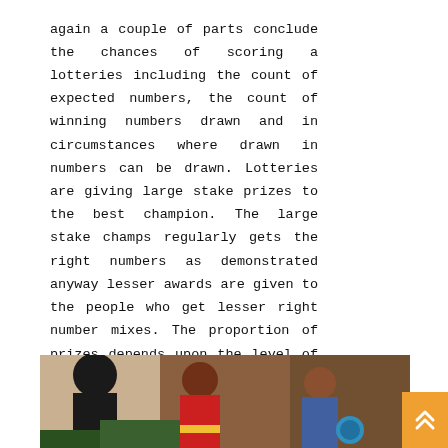again a couple of parts conclude the chances of scoring a lotteries including the count of expected numbers, the count of winning numbers drawn and in circumstances where drawn in numbers can be drawn. Lotteries are giving large stake prizes to the best champion. The large stake champs regularly gets the right numbers as demonstrated anyway lesser awards are given to the people who get lesser right number mixes. The proportion of prizes depends upon the level of the right numbers mix.
[Figure (photo): Photo of people, possibly at a market or gathering, one wearing a red and yellow shirt, with colorful items visible.]